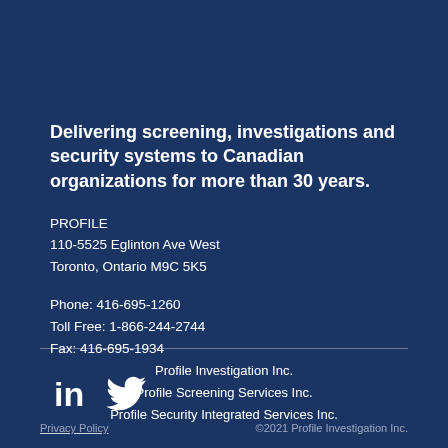Delivering screening, investigations and security systems to Canadian organizations for more than 30 years.
PROFILE
110-5525 Eglinton Ave West
Toronto, Ontario M9C 5K5
Phone: 416-695-1260
Toll Free: 1-866-244-2744
Fax: 416-695-1934
[Figure (other): LinkedIn and Twitter social media icons in white]
Profile Investigation Inc.
Profile Screening Services Inc.
Profile Security Integrated Services Inc.
Privacy Policy   ©2021 Profile Investigation Inc.